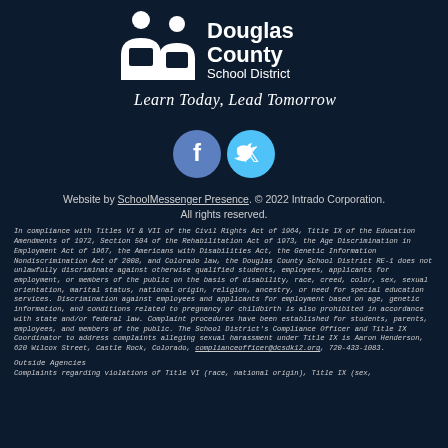[Figure (logo): Douglas County School District logo with tagline 'Learn Today, Lead Tomorrow']
[Figure (illustration): Facebook and Twitter social media icons (circular buttons)]
Website by SchoolMessenger Presence. © 2022 Intrado Corporation. All rights reserved.
In compliance with Titles VI & VII of the Civil Rights Act of 1964, Title IX of the Education Amendments of 1972, Section 504 of the Rehabilitation Act of 1973, the Age Discrimination in Employment Act of 1967, the Americans with Disabilities Act, the Genetic Information Nondiscrimination Act of 2008, and Colorado law, the Douglas County School District RE-1 does not unlawfully discriminate against otherwise qualified students, employees, applicants for employment, or members of the public on the basis of disability, race, creed, color, sex, sexual orientation, marital status, national origin, religion, ancestry, or need for special education services. Discrimination against employees and applicants for employment based on age, genetic information, and conditions related to pregnancy or childbirth is also prohibited in accordance with state and/or federal law. Complaint procedures have been established for students, parents, employees, and members of the public. The School District's Compliance Officer and Title IX Coordinator to address complaints alleging sexual harassment under Title IX is Aaron Henderson, 620 Wilcox Street, Castle Rock, Colorado, complianceofficer@dcsdk12.org, 720-433-1083.
Outside Agencies
Complaints regarding violations of Title VI (race, national origin), Title IX (sex,